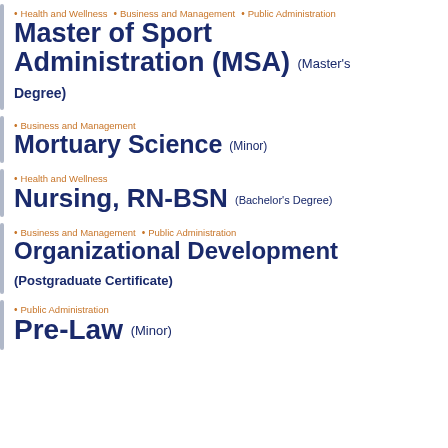Health and Wellness • Business and Management • Public Administration
Master of Sport Administration (MSA) (Master's Degree)
Business and Management
Mortuary Science (Minor)
Health and Wellness
Nursing, RN-BSN (Bachelor's Degree)
Business and Management • Public Administration
Organizational Development (Postgraduate Certificate)
Public Administration
Pre-Law (Minor)